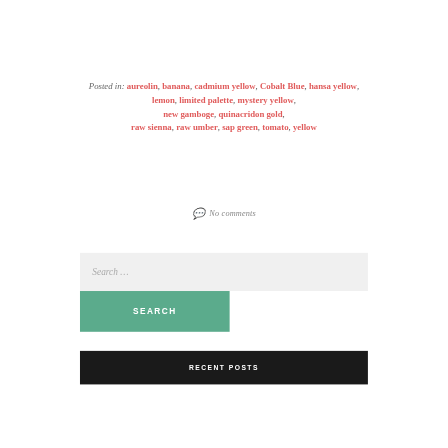Posted in: aureolin, banana, cadmium yellow, Cobalt Blue, hansa yellow, lemon, limited palette, mystery yellow, new gamboge, quinacridon gold, raw sienna, raw umber, sap green, tomato, yellow
💬 No comments
Search ...
SEARCH
RECENT POSTS